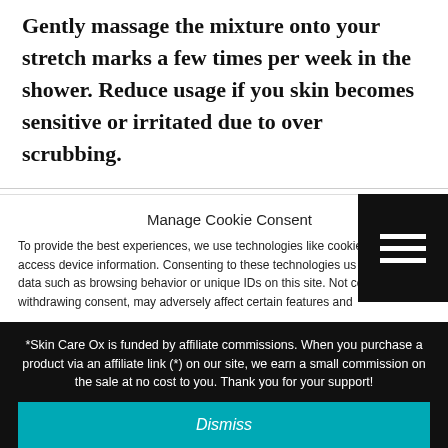Gently massage the mixture onto your stretch marks a few times per week in the shower. Reduce usage if you skin becomes sensitive or irritated due to over scrubbing.
Manage Cookie Consent
To provide the best experiences, we use technologies like cookies to and/or access device information. Consenting to these technologies us to process data such as browsing behavior or unique IDs on this site. Not consenting or withdrawing consent, may adversely affect certain features and
*Skin Care Ox is funded by affiliate commissions. When you purchase a product via an affiliate link (*) on our site, we earn a small commission on the sale at no cost to you. Thank you for your support!
Dismiss